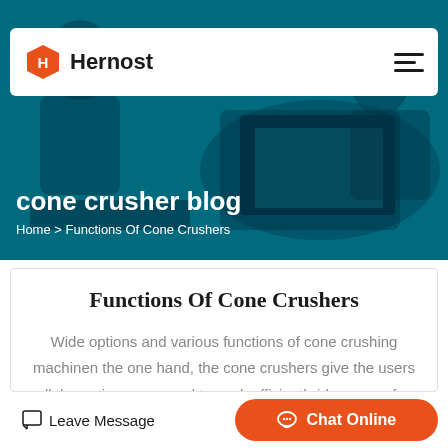[Figure (screenshot): Hernost website header with logo (orange hexagon H icon and 'Hernost' text) on white bar, hamburger menu icon on right, over a teal/blue tinted hero background image showing people working at laptops]
cone crusher blog
Home > Functions Of Cone Crushers
Functions Of Cone Crushers
Wide options and various functions of cone crushing machinen the one hand, the cone crushers give the users all the options you need to work efficiently.ide range of…
Leave Message
Chat Online